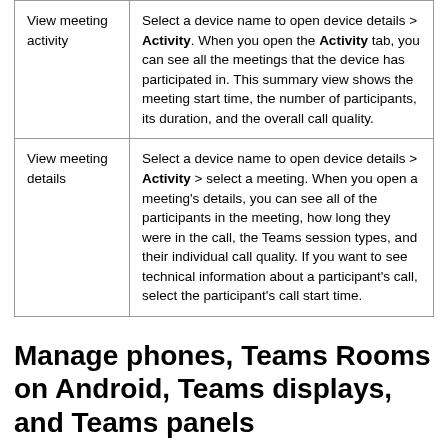| View meeting activity | Select a device name to open device details > Activity. When you open the Activity tab, you can see all the meetings that the device has participated in. This summary view shows the meeting start time, the number of participants, its duration, and the overall call quality. |
| View meeting details | Select a device name to open device details > Activity > select a meeting. When you open a meeting's details, you can see all of the participants in the meeting, how long they were in the call, the Teams session types, and their individual call quality. If you want to see technical information about a participant's call, select the participant's call start time. |
Manage phones, Teams Rooms on Android, Teams displays, and Teams panels